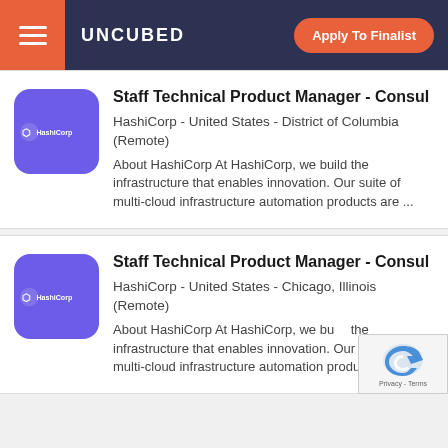UNCUBED  Apply To Finalist
Staff Technical Product Manager - Consul
HashiCorp - United States - District of Columbia (Remote)
About HashiCorp At HashiCorp, we build the infrastructure that enables innovation. Our suite of multi-cloud infrastructure automation products are ...
Staff Technical Product Manager - Consul
HashiCorp - United States - Chicago, Illinois (Remote)
About HashiCorp At HashiCorp, we build the infrastructure that enables innovation. Our suite of multi-cloud infrastructure automation products are ...